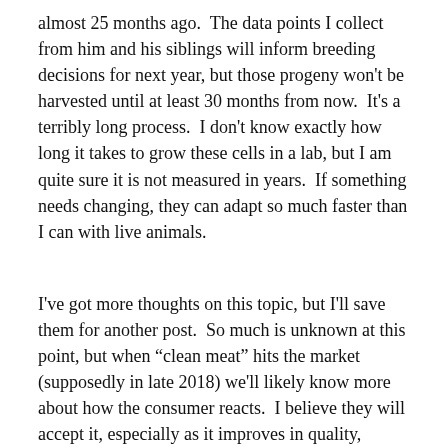almost 25 months ago.  The data points I collect from him and his siblings will inform breeding decisions for next year, but those progeny won't be harvested until at least 30 months from now.  It's a terribly long process.  I don't know exactly how long it takes to grow these cells in a lab, but I am quite sure it is not measured in years.  If something needs changing, they can adapt so much faster than I can with live animals.
I've got more thoughts on this topic, but I'll save them for another post.  So much is unknown at this point, but when “clean meat” hits the market (supposedly in late 2018) we'll likely know more about how the consumer reacts.  I believe they will accept it, especially as it improves in quality, choices, and value.
If you'd like to share your thoughts, I'll post your comments on the